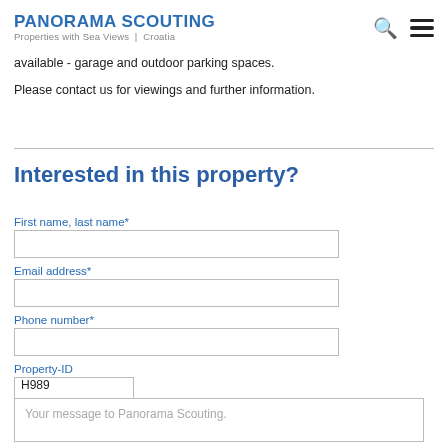PANORAMA SCOUTING Properties with Sea Views | Croatia
available - garage and outdoor parking spaces.
Please contact us for viewings and further information.
Interested in this property?
First name, last name*
Email address*
Phone number*
Property-ID
H989
Your message to Panorama Scouting.